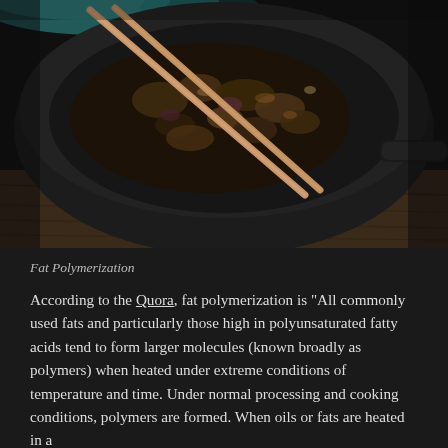[Figure (photo): Dark photograph of a cast iron wok or pan with stir-fried food and wooden chopsticks resting on a wooden surface. Dark moody lighting with teal/blue cloth visible in top background.]
Fat Polymerization
According to the Quora, fat polymerization is "All commonly used fats and particularly those high in polyunsaturated fatty acids tend to form larger molecules (known broadly as polymers) when heated under extreme conditions of temperature and time. Under normal processing and cooking conditions, polymers are formed. When oils or fats are heated in a